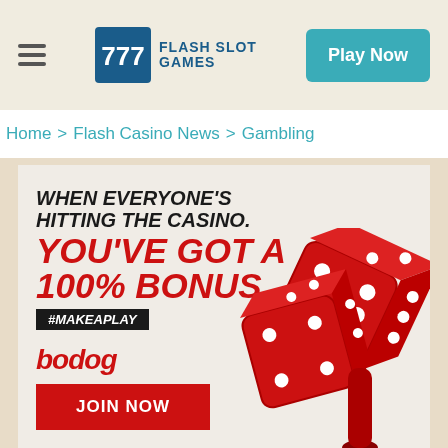FLASH SLOT GAMES | Play Now
Home > Flash Casino News > Gambling
[Figure (infographic): Bodog casino advertisement banner with text: WHEN EVERYONE'S HITTING THE CASINO. YOU'VE GOT A 100% BONUS #MAKEAPLAY. Bodog logo and JOIN NOW button. Red dice illustration on right side.]